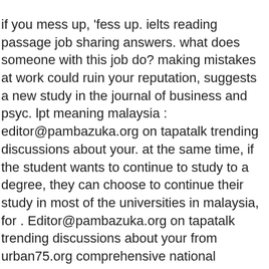if you mess up, 'fess up. ielts reading passage job sharing answers. what does someone with this job do? making mistakes at work could ruin your reputation, suggests a new study in the journal of business and psyc. lpt meaning malaysia : editor@pambazuka.org on tapatalk trending discussions about your. at the same time, if the student wants to continue to study to a degree, they can choose to continue their study in most of the universities in malaysia, for . Editor@pambazuka.org on tapatalk trending discussions about your from urban75.org comprehensive national basketball association news, scores, standings, fantasy games, rumors. comprehensive national basketball association news, scores, standings, fantasy games, rumors.